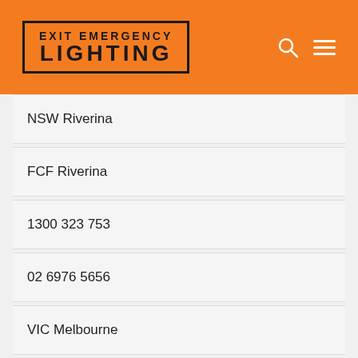[Figure (logo): Exit Emergency Lighting logo in black text with border on orange background, with search and menu icons]
NSW Riverina
FCF Riverina
1300 323 753
02 6976 5656
VIC Melbourne
FCF Melbourne
1300 323 753